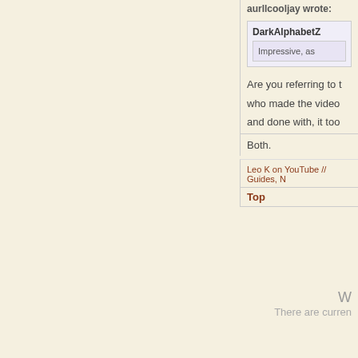aurllcooljay wrote:
DarkAlphabetZ
Impressive, as
Are you referring to t
who made the video
and done with, it too
Both.
Leo K on YouTube // Guides, N
Top
W
There are curren